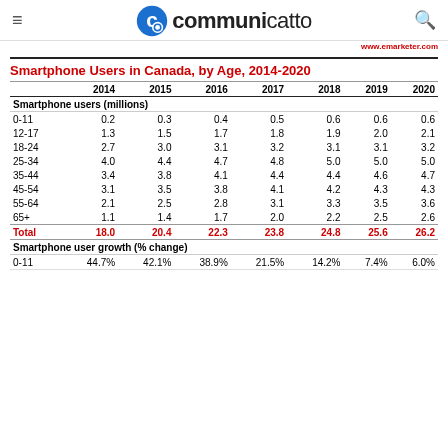communicatto
www.emarketer.com
Smartphone Users in Canada, by Age, 2014-2020
|  | 2014 | 2015 | 2016 | 2017 | 2018 | 2019 | 2020 |
| --- | --- | --- | --- | --- | --- | --- | --- |
| Smartphone users (millions) |  |  |  |  |  |  |  |
| 0-11 | 0.2 | 0.3 | 0.4 | 0.5 | 0.6 | 0.6 | 0.6 |
| 12-17 | 1.3 | 1.5 | 1.7 | 1.8 | 1.9 | 2.0 | 2.1 |
| 18-24 | 2.7 | 3.0 | 3.1 | 3.2 | 3.1 | 3.1 | 3.2 |
| 25-34 | 4.0 | 4.4 | 4.7 | 4.8 | 5.0 | 5.0 | 5.0 |
| 35-44 | 3.4 | 3.8 | 4.1 | 4.4 | 4.4 | 4.6 | 4.7 |
| 45-54 | 3.1 | 3.5 | 3.8 | 4.1 | 4.2 | 4.3 | 4.3 |
| 55-64 | 2.1 | 2.5 | 2.8 | 3.1 | 3.3 | 3.5 | 3.6 |
| 65+ | 1.1 | 1.4 | 1.7 | 2.0 | 2.2 | 2.5 | 2.6 |
| Total | 18.0 | 20.4 | 22.3 | 23.8 | 24.8 | 25.6 | 26.2 |
| Smartphone user growth (% change) |  |  |  |  |  |  |  |
| 0-11 | 44.7% | 42.1% | 38.9% | 21.5% | 14.2% | 7.4% | 6.0% |